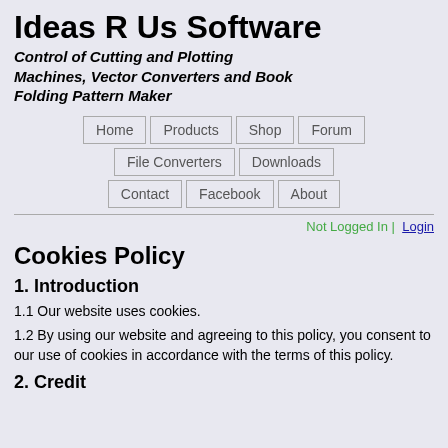Ideas R Us Software
Control of Cutting and Plotting Machines, Vector Converters and Book Folding Pattern Maker
Home | Products | Shop | Forum | File Converters | Downloads | Contact | Facebook | About
Not Logged In | Login
Cookies Policy
1. Introduction
1.1 Our website uses cookies.
1.2 By using our website and agreeing to this policy, you consent to our use of cookies in accordance with the terms of this policy.
2. Credit